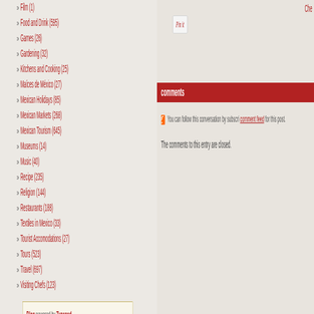Film (1)
Food and Drink (595)
Games (26)
Gardening (32)
Kitchens and Cooking (25)
Maíces de México (27)
Mexican Holidays (85)
Mexican Markets (268)
Mexican Tourism (645)
Museums (14)
Music (40)
Recipe (235)
Religion (144)
Restaurants (188)
Textiles in Mexico (33)
Tourist Accomodations (27)
Tours (523)
Travel (697)
Visiting Chefs (123)
Blog powered by Typepad
Member since 08/2005
comments
You can follow this conversation by subscribing to the comment feed for this post.
The comments to this entry are closed.